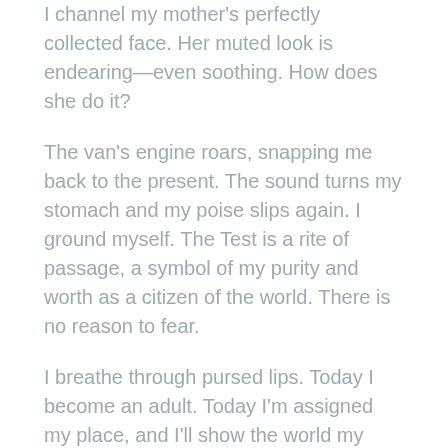I channel my mother's perfectly collected face. Her muted look is endearing—even soothing. How does she do it?
The van's engine roars, snapping me back to the present. The sound turns my stomach and my poise slips again. I ground myself. The Test is a rite of passage, a symbol of my purity and worth as a citizen of the world. There is no reason to fear.
I breathe through pursed lips. Today I become an adult. Today I'm assigned my place, and I'll show the world my carefully crafted perfection.